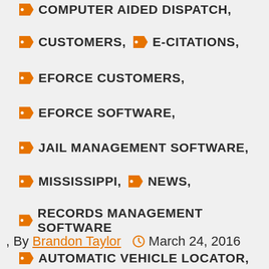COMPUTER AIDED DISPATCH,
CUSTOMERS,  E-CITATIONS,
EFORCE CUSTOMERS,
EFORCE SOFTWARE,
JAIL MANAGEMENT SOFTWARE,
MISSISSIPPI,  NEWS,
RECORDS MANAGEMENT SOFTWARE
, By Brandon Taylor  March 24, 2016
AUTOMATIC VEHICLE LOCATOR,
CITY OF PEARL,
CIVIL PROCESS SOFTWARE,
COMPUTER AIDED DISPATCH,